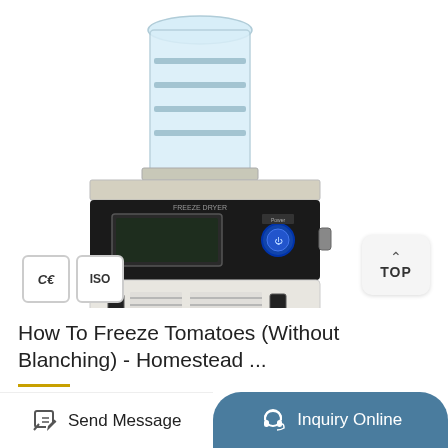[Figure (photo): A freeze dryer machine with a clear cylindrical top flask with multiple shelves visible, a black control panel with LCD display and blue button labeled 'FREEZE DRYER', and a white lower body with ventilation grilles and two switches. CE and ISO certification badges visible at bottom left. A 'TOP' navigation button appears at the right side.]
How To Freeze Tomatoes (Without Blanching) - Homestead ...
Send Message
Inquiry Online